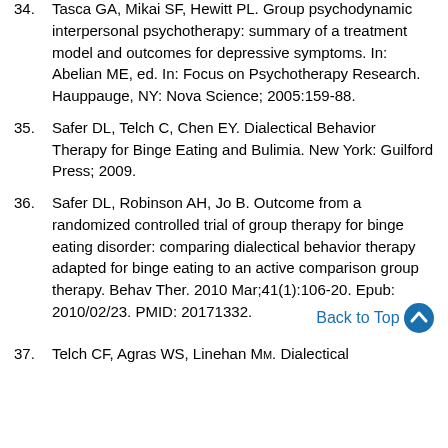34. Tasca GA, Mikai SF, Hewitt PL. Group psychodynamic interpersonal psychotherapy: summary of a treatment model and outcomes for depressive symptoms. In: Abelian ME, ed. In: Focus on Psychotherapy Research. Hauppauge, NY: Nova Science; 2005:159-88.
35. Safer DL, Telch C, Chen EY. Dialectical Behavior Therapy for Binge Eating and Bulimia. New York: Guilford Press; 2009.
36. Safer DL, Robinson AH, Jo B. Outcome from a randomized controlled trial of group therapy for binge eating disorder: comparing dialectical behavior therapy adapted for binge eating to an active comparison group therapy. Behav Ther. 2010 Mar;41(1):106-20. Epub: 2010/02/23. PMID: 20171332.
37. Telch CF, Agras WS, Linehan MM. Dialectical